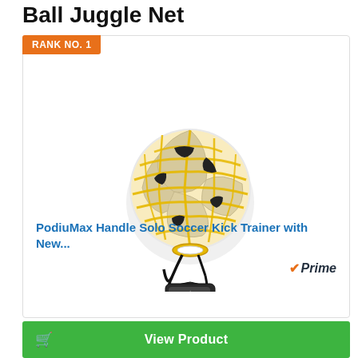Ball Juggle Net
RANK NO. 1
[Figure (photo): PodiuMax soccer ball in a yellow training net with a black cord and handle attached]
PodiuMax Handle Solo Soccer Kick Trainer with New...
Prime
View Product